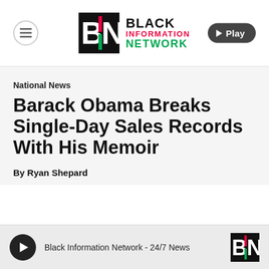[Figure (logo): Black Information Network (BIN) logo with hamburger menu icon and Play button in header]
National News
Barack Obama Breaks Single-Day Sales Records With His Memoir
By Ryan Shepard
[Figure (other): Audio player bar: Black Information Network - 24/7 News with BIN logo]